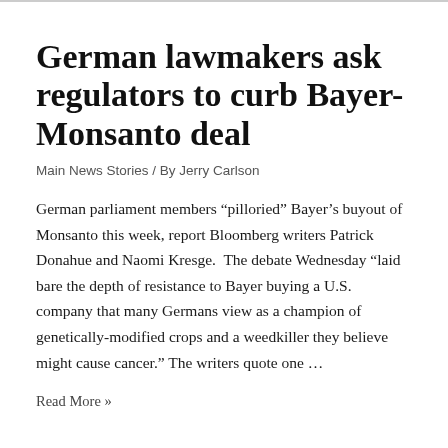German lawmakers ask regulators to curb Bayer-Monsanto deal
Main News Stories / By Jerry Carlson
German parliament members “pilloried” Bayer’s buyout of Monsanto this week, report Bloomberg writers Patrick Donahue and Naomi Kresge.  The debate Wednesday “laid bare the depth of resistance to Bayer buying a U.S. company that many Germans view as a champion of genetically-modified crops and a weedkiller they believe might cause cancer.” The writers quote one …
Read More »